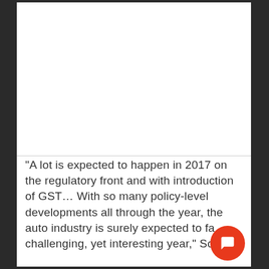[Figure (other): White rectangular image/photo placeholder area at top of page]
"A lot is expected to happen in 2017 on the regulatory front and with introduction of GST… With so many policy-level developments all through the year, the auto industry is surely expected to face a challenging, yet interesting year," Society